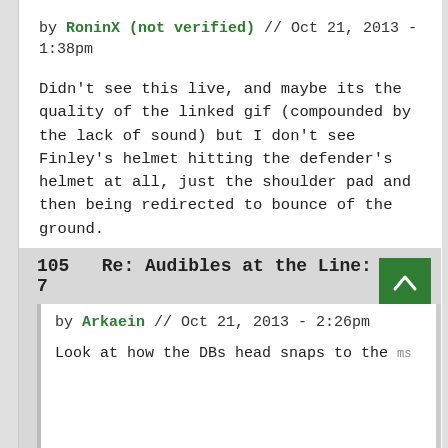by RoninX (not verified) // Oct 21, 2013 - 1:38pm
Didn't see this live, and maybe its the quality of the linked gif (compounded by the lack of sound) but I don't see Finley's helmet hitting the defender's helmet at all, just the shoulder pad and then being redirected to bounce of the ground.
Login or register to post comments
105   Re: Audibles at the Line: Week 7
by Arkaein // Oct 21, 2013 - 2:26pm
Look at how the DBs head snaps to the right immediately after the collision